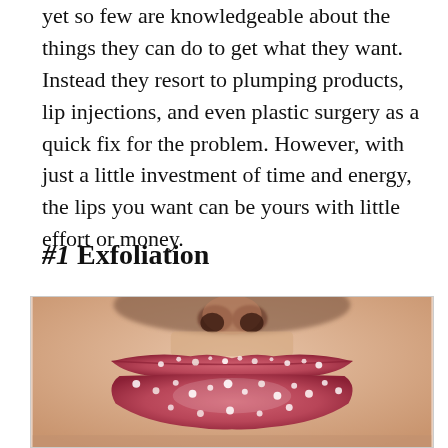yet so few are knowledgeable about the things they can do to get what they want. Instead they resort to plumping products, lip injections, and even plastic surgery as a quick fix for the problem. However, with just a little investment of time and energy, the lips you want can be yours with little effort or money.
#1 Exfoliation
[Figure (photo): Close-up photo of a person's lips covered with sugar or exfoliating scrub, showing the lower nose and mouth area with pinkish-red lips dusted with white granules against a light skin-toned background.]